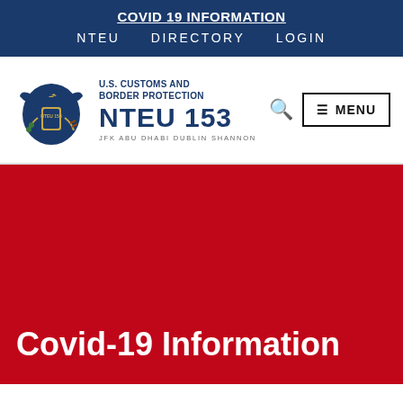COVID 19 INFORMATION  NTEU  DIRECTORY  LOGIN
[Figure (logo): U.S. Customs and Border Protection NTEU 153 eagle shield logo with tagline JFK ABU DHABI DUBLIN SHANNON, search icon, and MENU button]
Covid-19 Information